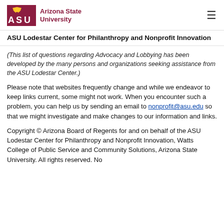ASU Arizona State University
ASU Lodestar Center for Philanthropy and Nonprofit Innovation
(This list of questions regarding Advocacy and Lobbying has been developed by the many persons and organizations seeking assistance from the ASU Lodestar Center.)
Please note that websites frequently change and while we endeavor to keep links current, some might not work. When you encounter such a problem, you can help us by sending an email to nonprofit@asu.edu so that we might investigate and make changes to our information and links.
Copyright © Arizona Board of Regents for and on behalf of the ASU Lodestar Center for Philanthropy and Nonprofit Innovation, Watts College of Public Service and Community Solutions, Arizona State University. All rights reserved. No